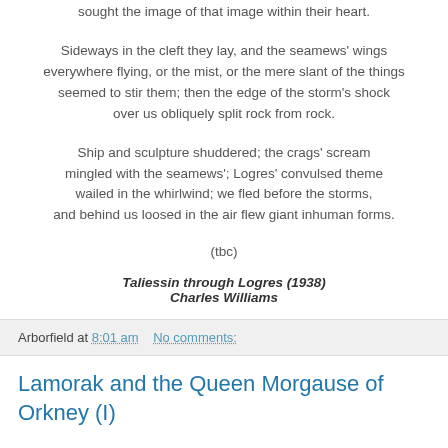sought the image of that image within their heart.
Sideways in the cleft they lay, and the seamews' wings everywhere flying, or the mist, or the mere slant of the things seemed to stir them; then the edge of the storm's shock over us obliquely split rock from rock.
Ship and sculpture shuddered; the crags' scream mingled with the seamews'; Logres' convulsed theme wailed in the whirlwind; we fled before the storms, and behind us loosed in the air flew giant inhuman forms.
(tbc)
Taliessin through Logres (1938)
Charles Williams
Arborfield at 8:01 am   No comments:
Lamorak and the Queen Morgause of Orkney (I)